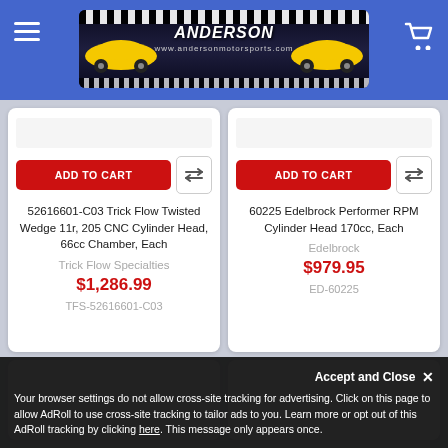Anderson Motorsports website header with logo and navigation
[Figure (screenshot): Anderson Motorsports website logo with yellow race cars on dark background and checkered banner]
ADD TO CART
52616601-C03 Trick Flow Twisted Wedge 11r, 205 CNC Cylinder Head, 66cc Chamber, Each
Trick Flow Specialties
$1,286.99
TFS-52616601-C03
ADD TO CART
60225 Edelbrock Performer RPM Cylinder Head 170cc, Each
Edelbrock
$979.95
ED-60225
Accept and Close ✕
Your browser settings do not allow cross-site tracking for advertising. Click on this page to allow AdRoll to use cross-site tracking to tailor ads to you. Learn more or opt out of this AdRoll tracking by clicking here. This message only appears once.